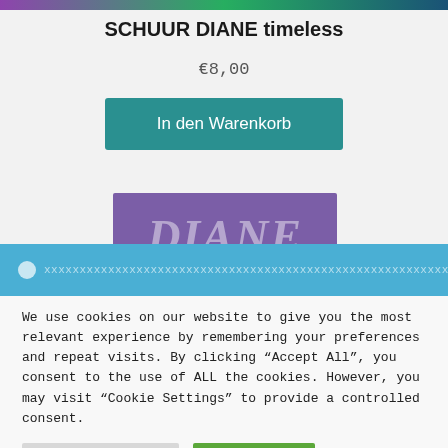[Figure (photo): Colorful product image strip at the top of the page (purple, green, dark blue)]
SCHUUR DIANE timeless
€8,00
In den Warenkorb
[Figure (photo): Magazine/product cover showing large stylized text 'DIANE' on a purple background]
We use cookies on our website to give you the most relevant experience by remembering your preferences and repeat visits. By clicking "Accept All", you consent to the use of ALL the cookies. However, you may visit "Cookie Settings" to provide a controlled consent.
Cookie Settings
Accept All